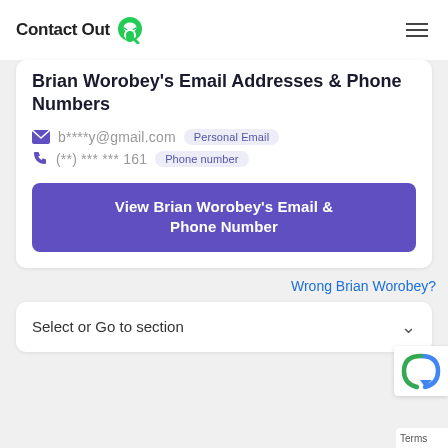ContactOut
Brian Worobey's Email Addresses & Phone Numbers
b****y@gmail.com  Personal Email
(**) *** *** 161  Phone number
View Brian Worobey's Email & Phone Number
Wrong Brian Worobey?
Select or Go to section